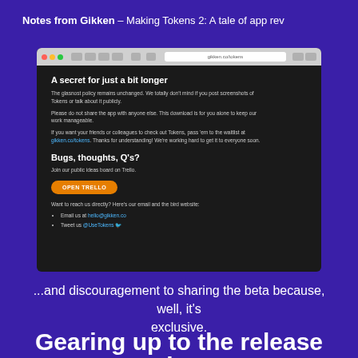Notes from Gikken – Making Tokens 2: A tale of app rev
[Figure (screenshot): Browser screenshot showing a dark web app page with sections 'A secret for just a bit longer' with NDA/sharing policy text and a link to gikken.co/tokens, then 'Bugs, thoughts, Q's?' section with 'Join our public ideas board on Trello.' text, an orange OPEN TRELLO button, and contact info with email hello@gikken.co and @UseTokens Twitter link.]
...and discouragement to sharing the beta because, well, it's exclusive.
Gearing up to the release day